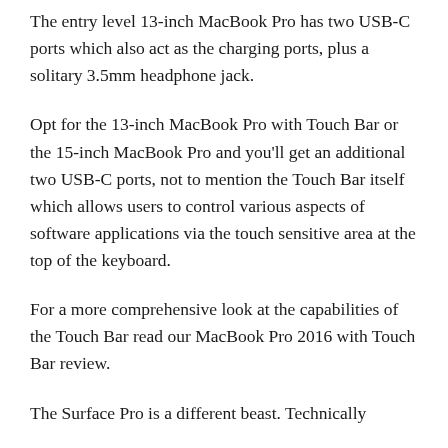The entry level 13-inch MacBook Pro has two USB-C ports which also act as the charging ports, plus a solitary 3.5mm headphone jack.
Opt for the 13-inch MacBook Pro with Touch Bar or the 15-inch MacBook Pro and you'll get an additional two USB-C ports, not to mention the Touch Bar itself which allows users to control various aspects of software applications via the touch sensitive area at the top of the keyboard.
For a more comprehensive look at the capabilities of the Touch Bar read our MacBook Pro 2016 with Touch Bar review.
The Surface Pro is a different beast. Technically